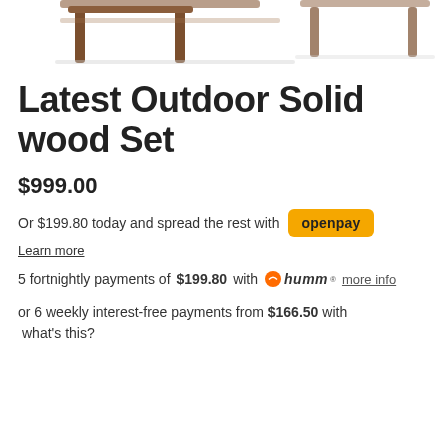[Figure (photo): Top portion of an outdoor solid wood furniture set (chairs and table legs visible) on white background]
Latest Outdoor Solid wood Set
$999.00
Or $199.80 today and spread the rest with openpay
Learn more
5 fortnightly payments of $199.80 with humm more info
or 6 weekly interest-free payments from $166.50 with what's this?